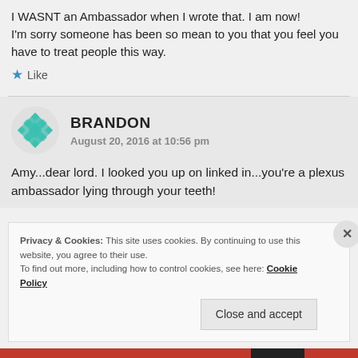I WASNT an Ambassador when I wrote that. I am now!
I'm sorry someone has been so mean to you that you feel you have to treat people this way.
Like
BRANDON
August 20, 2016 at 10:56 pm
Amy...dear lord. I looked you up on linked in...you're a plexus ambassador lying through your teeth!
Privacy & Cookies: This site uses cookies. By continuing to use this website, you agree to their use.
To find out more, including how to control cookies, see here: Cookie Policy
Close and accept